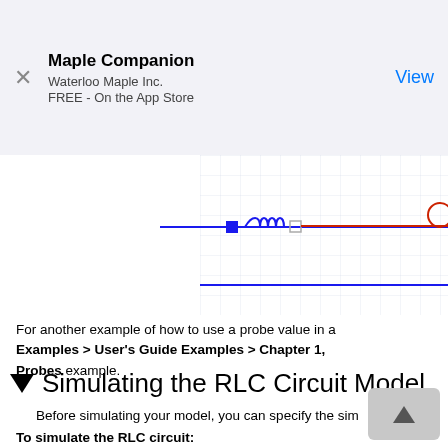Maple Companion
Waterloo Maple Inc.
FREE - On the App Store
[Figure (schematic): Partial RLC circuit schematic showing an inductor symbol with blue line and connection nodes on a grid background, bottom blue horizontal line visible]
For another example of how to use a probe value in a [Examples > User's Guide Examples > Chapter 1, ... Probes example.
Simulating the RLC Circuit Model
Before simulating your model, you can specify the sim
To simulate the RLC circuit: